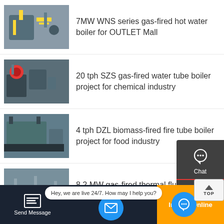7MW WNS series gas-fired hot water boiler for OUTLET Mall
20 tph SZS gas-fired water tube boiler project for chemical industry
4 tph DZL biomass-fired fire tube boiler project for food industry
8.2 MW gas-fired thermal fluid heater project for chemical industry
20 tph coal-fired steam boiler for food industry
7.2MW coal-fired thermal fluid heater project Pakistan
[Figure (screenshot): Sidebar with Chat, Email, and Contact buttons on dark background]
[Figure (screenshot): Bottom toolbar with Send Message, email FAB, chat tooltip 'Hey, we are live 24/7. How may I help you?', and Inquiry Online button]